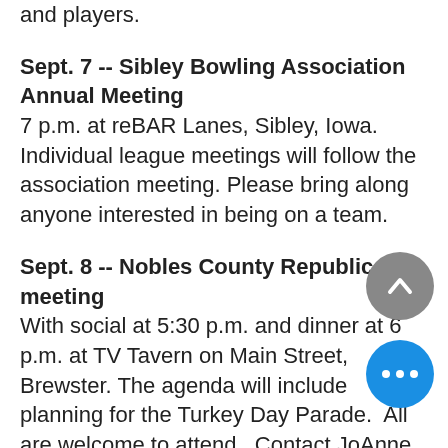and players.
Sept. 7 -- Sibley Bowling Association Annual Meeting
7 p.m. at reBAR Lanes, Sibley, Iowa. Individual league meetings will follow the association meeting. Please bring along anyone interested in being on a team.
Sept. 8 -- Nobles County Republicans meeting
With social at 5:30 p.m. and dinner at 6 p.m. at TV Tavern on Main Street, Brewster. The agenda will include planning for the Turkey Day Parade.  All are welcome to attend.  Contact JoAnne Smith at (507) 360-0755 for more information.
Sept. 13 -- Clay County Fair Bus Trip
Hop on the bus at 8 a.m.; Worthington Area YMCA and Center for Active Living members are $10 each and the entry fee